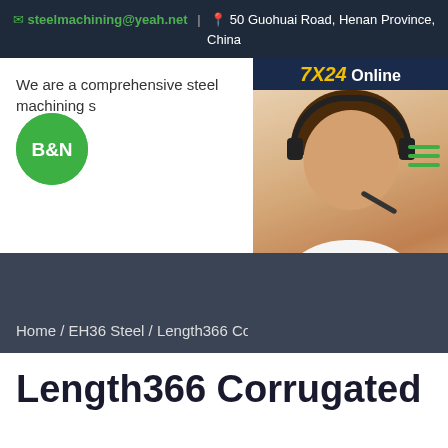✉ steelmachining@yeah.net | 📍 50 Guohuai Road, Henan Province, China
We are a comprehensive steel machining s...
[Figure (logo): B&N green circle logo with white text]
[Figure (photo): 7X24 Online chat widget with customer service representative wearing headset, Hello,may I help you? message, and Get Latest Price button]
Home / EH36 Steel / Length366 Corrugat...
Length366 Corrugated